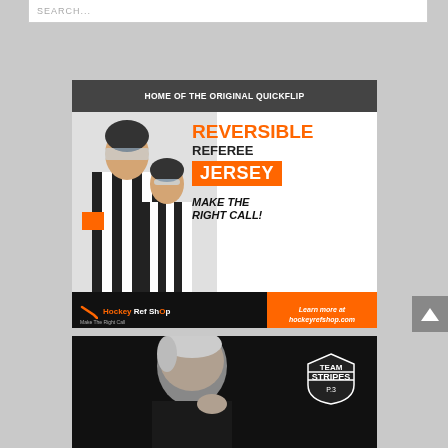SEARCH...
[Figure (photo): Hockey Ref Shop advertisement banner. Header: HOME OF THE ORIGINAL QUICKFLIP. Shows two hockey referees in black and white striped jerseys. Text: REVERSIBLE REFEREE JERSEY - MAKE THE RIGHT CALL! Learn more at hockeyrefshop.com. Hockey Ref Shop logo at bottom left.]
[Figure (photo): Team Stripes advertisement showing an elderly man's head and a Team Stripes logo in the upper right corner.]